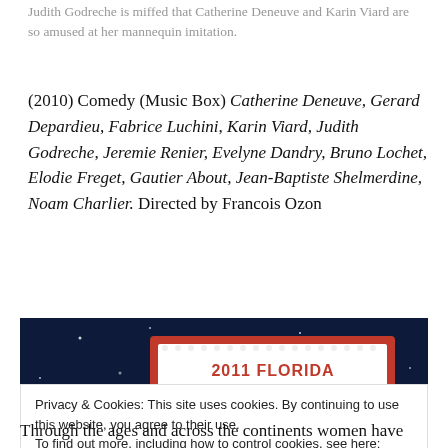Judith Godreche is miffed that Catherine Deneuve and Karin Viard are so amused at her mannequin imitation.
(2010) Comedy (Music Box) Catherine Deneuve, Gerard Depardieu, Fabrice Luchini, Karin Viard, Judith Godreche, Jeremie Renier, Evelyne Dandry, Bruno Lochet, Elodie Freget, Gautier About, Jean-Baptiste Shelmerdine, Noam Charlier. Directed by Francois Ozon
[Figure (photo): 2011 Florida Film Festival banner — dark blue background with marquee sign reading '2011 FLORIDA FILM FESTIVAL APRIL 8-17', '20TH ANNIVERSARY' on left, 'PRODUCED BY ENZIAN' on right]
Privacy & Cookies: This site uses cookies. By continuing to use this website, you agree to their use. To find out more, including how to control cookies, see here: Cookie Policy
Through the ages and across the continents women have